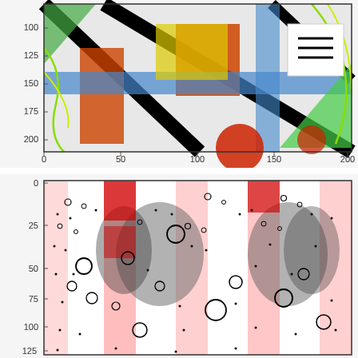[Figure (continuous-plot): A colorful image plot showing overlapping colored shapes (black diagonal bars, orange/red rectangles, blue lines, green curves, yellow region) on a light speckled background. Y-axis labeled 100–200, X-axis labeled 0–200. Has a legend icon (hamburger menu) in upper right corner.]
[Figure (continuous-plot): A grayscale/red scientific scatter or bubble plot showing circles of varying sizes scattered across a white background with red and gray blobs. Y-axis labeled 0–200+, X-axis starts around 0. Shows a complex data distribution pattern.]